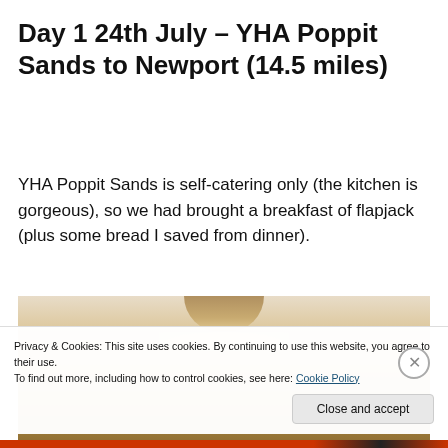Day 1 24th July – YHA Poppit Sands to Newport (14.5 miles)
YHA Poppit Sands is self-catering only (the kitchen is gorgeous), so we had brought a breakfast of flapjack (plus some bread I saved from dinner).
[Figure (photo): Interior photo of a room ceiling with a round pendant lamp shade and warm lighting]
Privacy & Cookies: This site uses cookies. By continuing to use this website, you agree to their use.
To find out more, including how to control cookies, see here: Cookie Policy
Close and accept